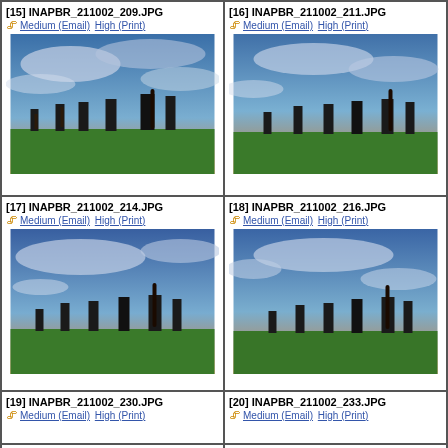[Figure (photo): Grid of photo thumbnails labeled INAPBR_211002_209.JPG through INAPBR_211002_342.JPG, showing musicians performing outdoors at dusk with dramatic sky.]
[15] INAPBR_211002_209.JPG
📎 Medium (Email) High (Print)
[16] INAPBR_211002_211.JPG
📎 Medium (Email) High (Print)
[17] INAPBR_211002_214.JPG
📎 Medium (Email) High (Print)
[18] INAPBR_211002_216.JPG
📎 Medium (Email) High (Print)
[19] INAPBR_211002_230.JPG
📎 Medium (Email) High (Print)
[20] INAPBR_211002_233.JPG
📎 Medium (Email) High (Print)
[21] INAPBR_211002_259.JPG
📎 Medium (Email) High (Print)
[22] INAPBR_211002_321.JPG
📎 Medium (Email) High (Print)
[23] INAPBR_211002_331.JPG
📎 Medium (Email) High (Print)
[24] INAPBR_211002_342.JPG
📎 Medium (Email) High (Print)